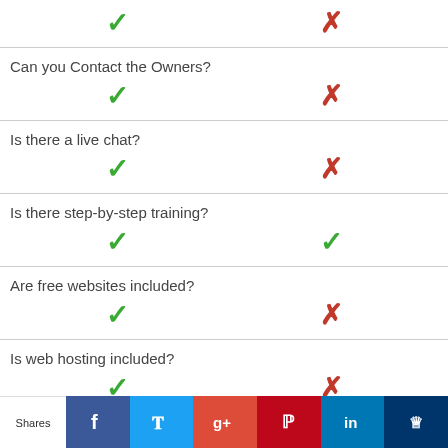| Feature | Option A | Option B |
| --- | --- | --- |
| Can you Contact the Owners? | ✓ | ✗ |
| Is there a live chat? | ✓ | ✗ |
| Is there step-by-step training? | ✓ | ✓ |
| Are free websites included? | ✓ | ✗ |
| Is web hosting included? | ✓ | ✗ |
| Can you try for free? | ✓ | ✗ |
| Is there a keyword research tool? | ... | ... |
Shares | Facebook | Twitter | Google+ | Pinterest | LinkedIn | Crown